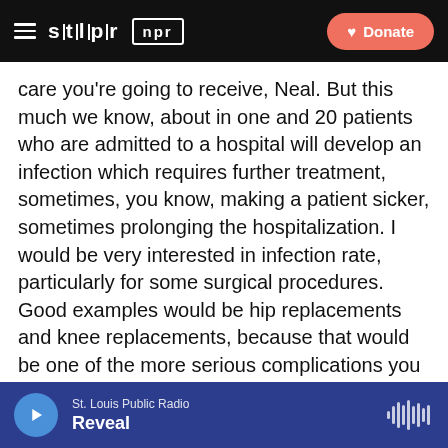STLPR NPR | Donate
care you're going to receive, Neal. But this much we know, about in one and 20 patients who are admitted to a hospital will develop an infection which requires further treatment, sometimes, you know, making a patient sicker, sometimes prolonging the hospitalization. I would be very interested in infection rate, particularly for some surgical procedures. Good examples would be hip replacements and knee replacements, because that would be one of the more serious complications you could have if you underwent that procedure.
And I think he makes a terrific point. An important factor with where you go to the hospital is how close is the hospital to your home? Will relatives and friends be
St. Louis Public Radio — Reveal